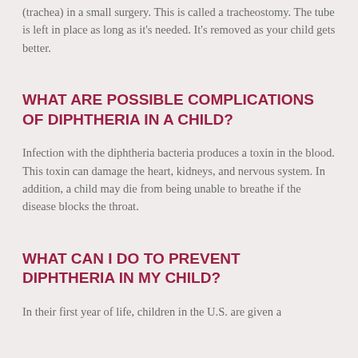(trachea) in a small surgery. This is called a tracheostomy. The tube is left in place as long as it's needed. It's removed as your child gets better.
WHAT ARE POSSIBLE COMPLICATIONS OF DIPHTHERIA IN A CHILD?
Infection with the diphtheria bacteria produces a toxin in the blood. This toxin can damage the heart, kidneys, and nervous system. In addition, a child may die from being unable to breathe if the disease blocks the throat.
WHAT CAN I DO TO PREVENT DIPHTHERIA IN MY CHILD?
In their first year of life, children in the U.S. are given a